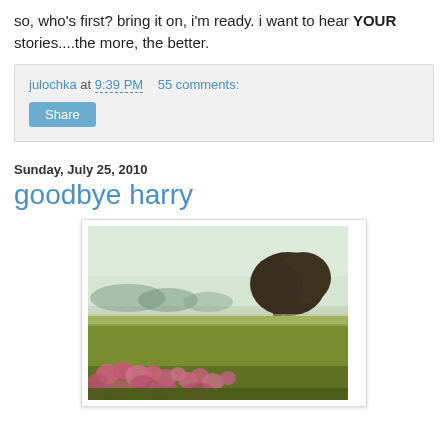so, who's first? bring it on, i'm ready. i want to hear YOUR stories....the more, the better.
julochka at 9:39 PM    55 comments:
Share
Sunday, July 25, 2010
goodbye harry
[Figure (photo): A landscape photo showing a field with pink wildflowers in the foreground, a wide green meadow in the middle ground, and a large leafy tree on the right side against a pale hazy sky with distant treeline on the left.]